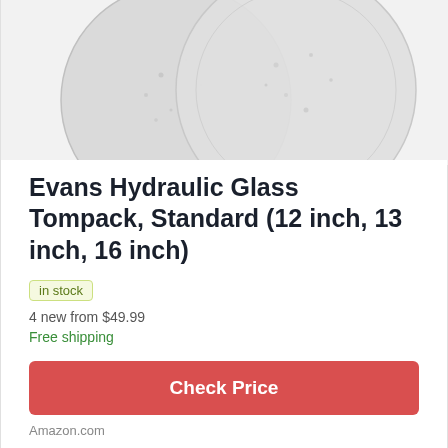[Figure (photo): Two overlapping circular glass discs (hydraulic glass tompack products) photographed from above on a light grey background. The discs are light grey/silver with subtle dot patterns on the surface.]
Evans Hydraulic Glass Tompack, Standard (12 inch, 13 inch, 16 inch)
in stock
4 new from $49.99
Free shipping
Check Price
Amazon.com